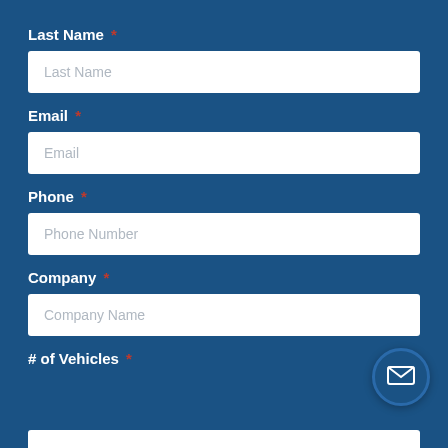Last Name *
[Figure (screenshot): Last Name input field with placeholder text 'Last Name']
Email *
[Figure (screenshot): Email input field with placeholder text 'Email']
Phone *
[Figure (screenshot): Phone input field with placeholder text 'Phone Number']
Company *
[Figure (screenshot): Company input field with placeholder text 'Company Name']
# of Vehicles *
[Figure (screenshot): Partial input field visible at bottom of page]